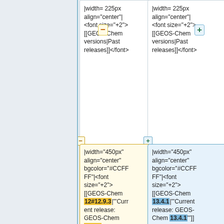|width= 225px align="center"| <font size="+2"> [[GEOS-Chem versions|Past releases]]</font>
|width= 225px align="center"| <font size="+2"> [[GEOS-Chem versions|Past releases]]</font>
|width="450px" align="center" bgcolor="#CCFFFF"|<font size="+2"> [[GEOS-Chem 12#12.9.3|'''Current release: GEOS-Chem 12.9.3''']]</font>
|width="450px" align="center" bgcolor="#CCFFFF"|<font size="+2"> [[GEOS-Chem 13.4.1|'''Current release: GEOS-Chem 13.4.1''']]</font>
|width="225px" align="center"| <font size="+2"> [[GEOS-Chem model development pri
|width="225px" align="center"| <font size="+2"> [[GEOS-Chem model development pri